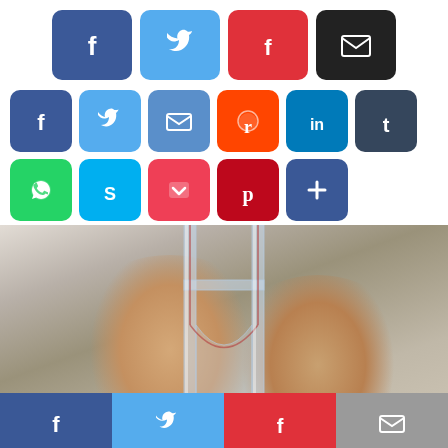[Figure (screenshot): Social media share buttons row: Facebook (blue), Twitter (light blue), Flipboard (red), Email (black)]
[Figure (screenshot): Social media share buttons grid: Facebook, Twitter, Email, Reddit, LinkedIn, Tumblr, WhatsApp, Skype, Pocket, Pinterest, plus button]
[Figure (photo): Two men looking at a transparent glass scientific apparatus (appears to be a microfluidic device or glass channel structure) in a laboratory setting. Both are smiling. The man on the left wears glasses.]
[Figure (screenshot): Bottom share bar with Facebook (dark blue), Twitter (light blue), Flipboard (red), Email (grey) buttons]